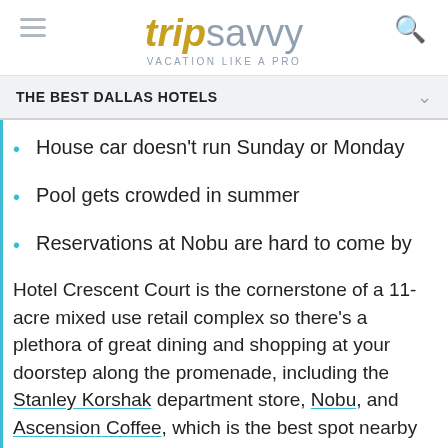tripsavvy VACATION LIKE A PRO
THE BEST DALLAS HOTELS
House car doesn't run Sunday or Monday
Pool gets crowded in summer
Reservations at Nobu are hard to come by
Hotel Crescent Court is the cornerstone of a 11-acre mixed use retail complex so there's a plethora of great dining and shopping at your doorstep along the promenade, including the Stanley Korshak department store, Nobu, and Ascension Coffee, which is the best spot nearby for breakfast. The hotel is always bustling and it...